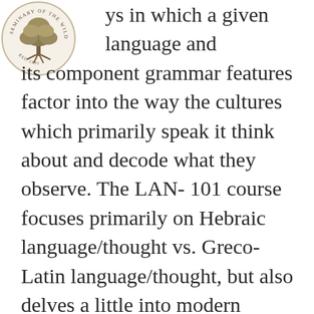[Figure (logo): Circular institutional logo with a tree and text around the border, positioned top-left corner]
track. This field of study examines the ways in which a given language and its component grammar features factor into the way the cultures which primarily speak it think about and decode what they observe. The LAN-101 course focuses primarily on Hebraic language/thought vs. Greco-Latin language/thought, but also delves a little into modern languages, e.g. English, German, Russian, for the sake of comparison with more familiar analogs.